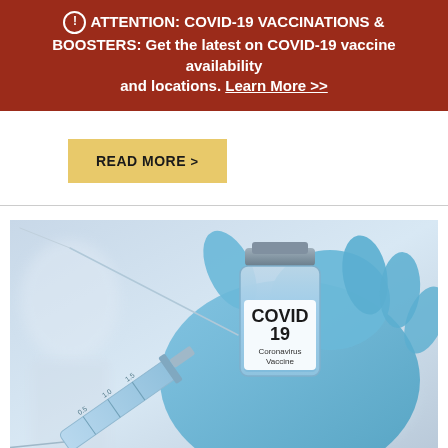⊙ ATTENTION: COVID-19 VACCINATIONS & BOOSTERS: Get the latest on COVID-19 vaccine availability and locations. Learn More >>
READ MORE >
[Figure (photo): A gloved hand in blue medical gloves holding a glass vial labeled 'COVID 19 Coronavirus Vaccine' alongside a syringe with needle, against a blurred clinical background.]